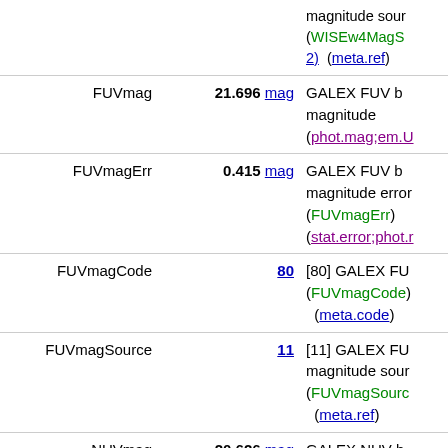| Field | Value | Description |
| --- | --- | --- |
|  | magnitude sour...
(WISEw4MagS...
2)  (meta.ref) |  |
| FUVmag | 21.696 mag | GALEX FUV b...
magnitude
(phot.mag;em.U... |
| FUVmagErr | 0.415 mag | GALEX FUV b...
magnitude error
(FUVmagErr)
(stat.error;phot.r... |
| FUVmagCode | 80 | [80] GALEX FU...
(FUVmagCode)
(meta.code) |
| FUVmagSource | 11 | [11] GALEX FU...
magnitude sour...
(FUVmagSourc...
(meta.ref) |
| NUVmag | 20.626 mag | GALEX NUV b...
magnitude
(phot.mag;em.U... |
| NUVmagErr | 0.213 mag | GALEX NUV b...
magnitude error
(NUVmagErr)
(stat.error;phot.r... |